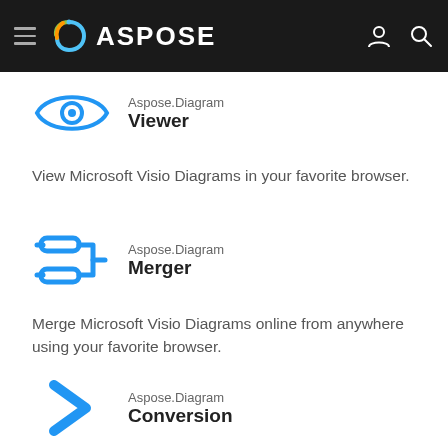ASPOSE
[Figure (logo): Aspose.Diagram Viewer icon — blue eye]
Aspose.Diagram Viewer
View Microsoft Visio Diagrams in your favorite browser.
[Figure (logo): Aspose.Diagram Merger icon — blue bracket/merge symbol]
Aspose.Diagram Merger
Merge Microsoft Visio Diagrams online from anywhere using your favorite browser.
[Figure (logo): Aspose.Diagram Conversion icon — blue chevron right arrow]
Aspose.Diagram Conversion